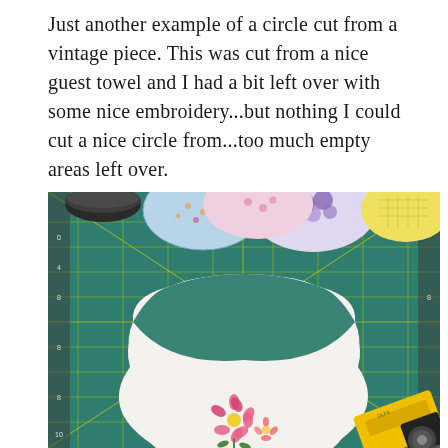Just another example of a circle cut from a vintage piece. This was cut from a nice guest towel and I had a bit left over with some nice embroidery...but nothing I could cut a nice circle from...too much empty areas left over.
[Figure (photo): A green quilting/cutting mat with yellow grid lines and diagonal lines crossing. Several fabric circles with floral and dotted patterns are visible at the top. A white piece of fabric with embroidered flowers sits in the lower center, shaped with curved cutouts. A yellow rotary cutter is visible in the bottom right corner. A dark cylindrical object is in the top left.]